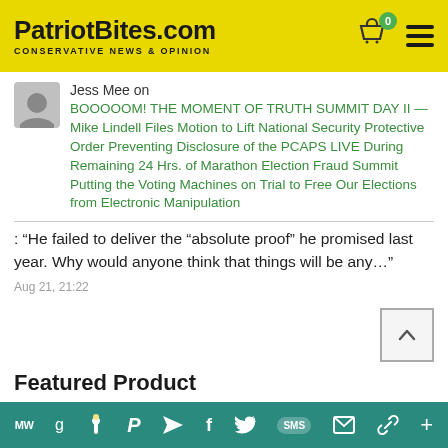PatriotBites.com — CONSERVATIVE NEWS & OPINION
Jess Mee on
BOOOOOM! THE MOMENT OF TRUTH SUMMIT DAY II — Mike Lindell Files Motion to Lift National Security Protective Order Preventing Disclosure of the PCAPS LIVE During Remaining 24 Hrs. of Marathon Election Fraud Summit Putting the Voting Machines on Trial to Free Our Elections from Electronic Manipulation
: “He failed to deliver the “absolute proof” he promised last year. Why would anyone think that things will be any…”
Aug 21, 21:22
Featured Product
MW g [torch] P [send] f [twitter] SMS [mail] [link] +